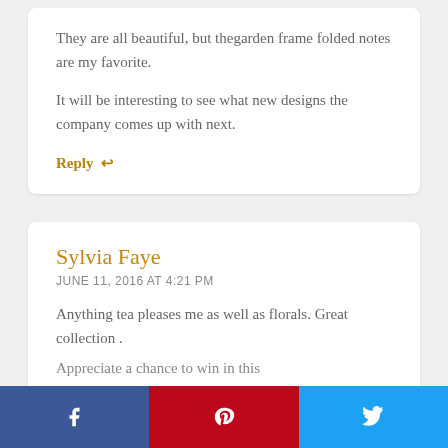They are all beautiful, but thegarden frame folded notes are my favorite.
It will be interesting to see what new designs the company comes up with next.
Reply ↩
Sylvia Faye
JUNE 11, 2016 AT 4:21 PM
Anything tea pleases me as well as florals. Great collection .
Appreciate a chance to win in this